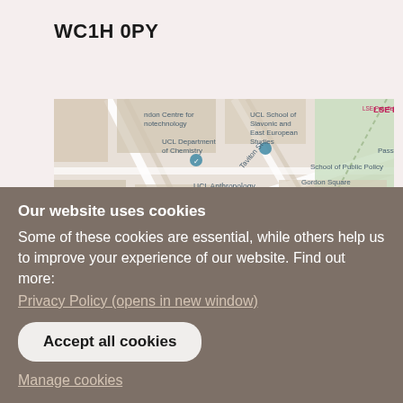WC1H 0PY
[Figure (map): Google Maps screenshot showing area around UCL/Bloomsbury including UCL Department of Chemistry, UCL School of Slavonic and East European Studies, UCL Anthropology, UCL Institute of Archaeology, LSE Passfield Hall, Passfield Hall, Noor Inayat Khan Statue, Gordon Square, School of Public Policy, Bloomsbury Theatre and Studio, UCL Student Centre, ACBE. A red pin marker is shown at the centre of the map.]
Cookie settings
Our website uses cookies
Some of these cookies are essential, while others help us to improve your experience of our website. Find out more:
Privacy Policy (opens in new window)
Accept all cookies
Manage cookies